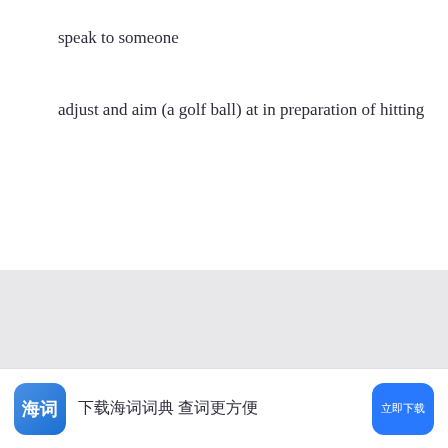speak to someone
adjust and aim (a golf ball) at in preparation of hitting
[Figure (other): Gray background content area (empty)]
下载海词词典 查词更方便